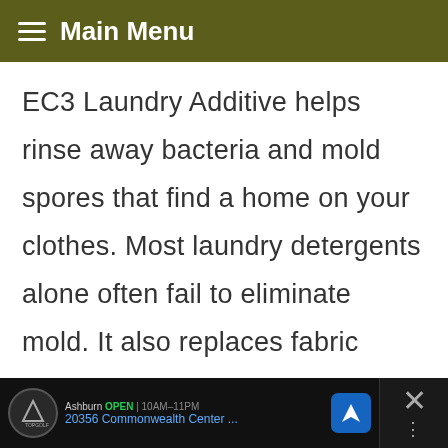Main Menu
EC3 Laundry Additive helps rinse away bacteria and mold spores that find a home on your clothes. Most laundry detergents alone often fail to eliminate mold. It also replaces fabric softeners that often serve as food for mold. You all knew this about fabric softene...
[Figure (screenshot): Share button overlay (orange share icon on white circle)]
[Figure (screenshot): What's Next bar: Toilet Mold – What It Is,... with thumbnail image]
[Figure (screenshot): Ad bar at bottom: TopGolf Ashburn OPEN 10AM-11PM, 20356 Commonwealth Center...]